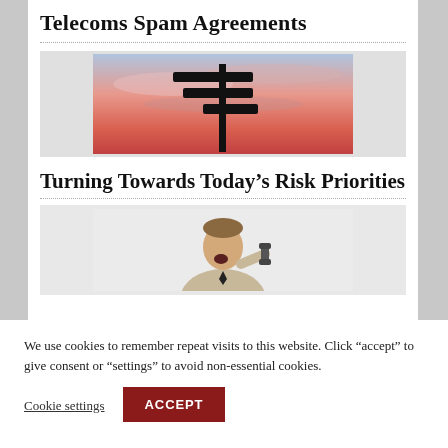Telecoms Spam Agreements
[Figure (photo): A silhouette of a street sign post with multiple directional signs against a vivid pink and orange sunset sky.]
Turning Towards Today's Risk Priorities
[Figure (photo): A man in a suit jacket yelling angrily into an old-style telephone handset against a white background.]
We use cookies to remember repeat visits to this website. Click “accept” to give consent or “settings” to avoid non-essential cookies.
Cookie settings
ACCEPT